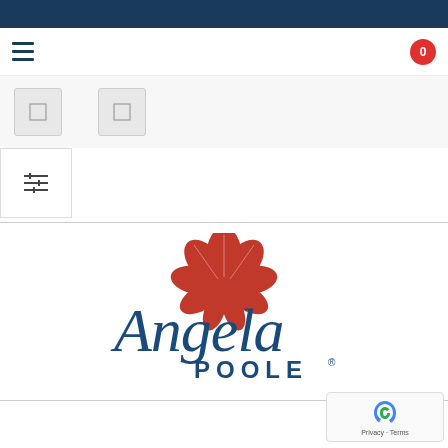Navigation bar with hamburger menu and cart badge showing 0
[Figure (screenshot): Two product thumbnail images in a light gray strip]
[Figure (screenshot): Filter/sort icon button]
[Figure (logo): Angela Poole logo with red flower and blue script text reading 'Angela POOLE®']
[Figure (other): reCAPTCHA badge with Privacy and Terms links]